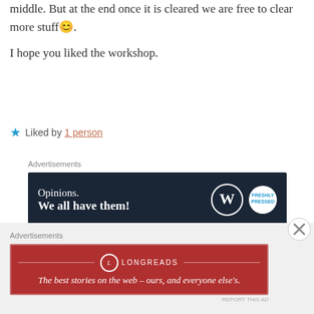middle. But at the end once it is cleared we are free to clear more stuff 😊.
I hope you liked the workshop.
★ Liked by 1 person
Advertisements
[Figure (screenshot): Dark navy advertisement banner with text 'Opinions. We all have them!' and WordPress and Freshly Pressed logos on the right]
REPORT THIS AD
boundlessblessingsblog
September 7, 2020 at 5:00 pm
[Figure (illustration): Avatar: green pixel art style square icon]
Advertisements
[Figure (screenshot): Red Longreads advertisement banner with text 'The best stories on the web – ours, and everyone else's.']